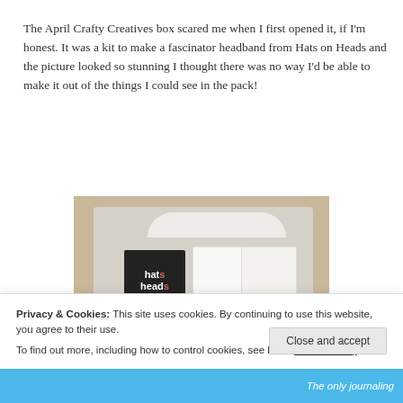The April Crafty Creatives box scared me when I first opened it, if I'm honest. It was a kit to make a fascinator headband from Hats on Heads and the picture looked so stunning I thought there was no way I'd be able to make it out of the things I could see in the pack!
[Figure (photo): A clear plastic bag packaging with a black Hats on Heads branded card and white cards inside, set against a brown cardboard background.]
Privacy & Cookies: This site uses cookies. By continuing to use this website, you agree to their use.
To find out more, including how to control cookies, see here: Cookie Policy
Close and accept
The only journaling